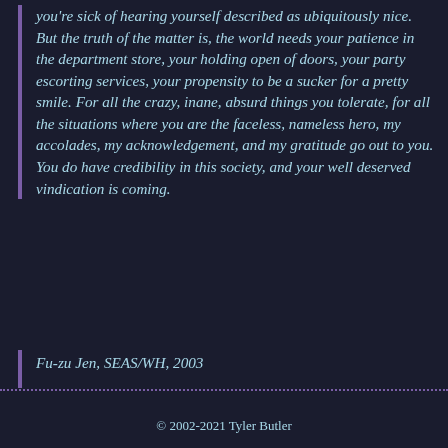you're sick of hearing yourself described as ubiquitously nice. But the truth of the matter is, the world needs your patience in the department store, your holding open of doors, your party escorting services, your propensity to be a sucker for a pretty smile. For all the crazy, inane, absurd things you tolerate, for all the situations where you are the faceless, nameless hero, my accolades, my acknowledgement, and my gratitude go out to you. You do have credibility in this society, and your well deserved vindication is coming.
Fu-zu Jen, SEAS/WH, 2003
© 2002-2021 Tyler Butler